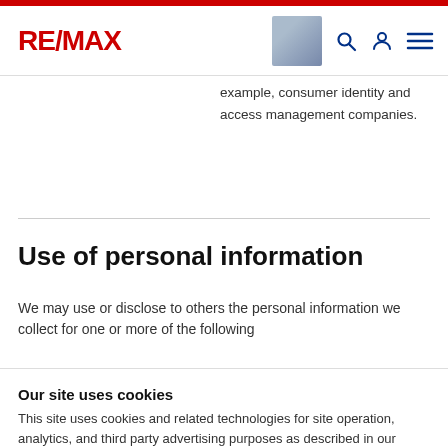RE/MAX
example, consumer identity and access management companies.
Use of personal information
We may use or disclose to others the personal information we collect for one or more of the following
Our site uses cookies
This site uses cookies and related technologies for site operation, analytics, and third party advertising purposes as described in our Privacy Notice .
ACCEPT